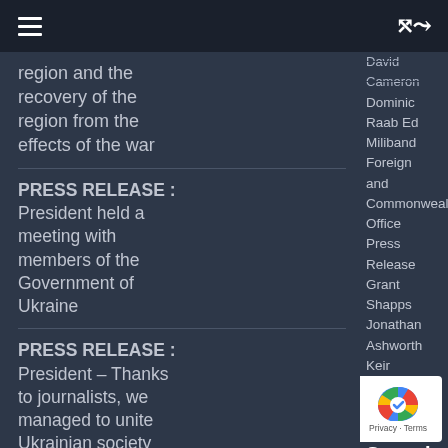region and the recovery of the region from the effects of the war
PRESS RELEASE : President held a meeting with members of the Government of Ukraine
PRESS RELEASE : President – Thanks to journalists, we managed to unite Ukrainian society and the whole world
PRESS RELEASE
David Cameron Dominic Raab Ed Miliband Foreign and Commonwealth Office Press Release Grant Shapps Jonathan Ashworth Keir Starmer Liz Truss Maiden Speech Matt Hancock Michael Gove Nick Thomas-Symonds President of Ukraine Press Release Priti Patel Rishi Sunak Sadiq Khan Sajid Javid Speeches
[Figure (logo): reCAPTCHA privacy badge with Google logo icon and Privacy - Terms text]